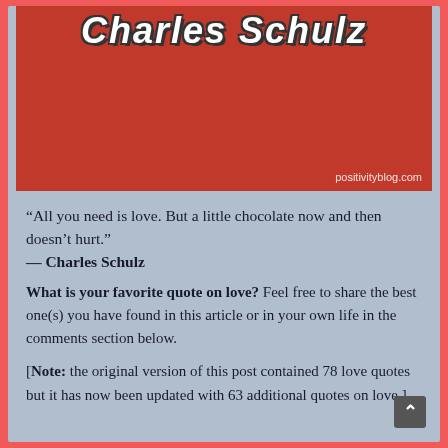[Figure (illustration): Red background image with white cursive/script text reading 'Charles Schulz' and watermark 'positivityblog.com' in bottom right corner]
“All you need is love. But a little chocolate now and then doesn’t hurt.”
— Charles Schulz
What is your favorite quote on love? Feel free to share the best one(s) you have found in this article or in your own life in the comments section below.
[Note: the original version of this post contained 78 love quotes but it has now been updated with 63 additional quotes on love.]